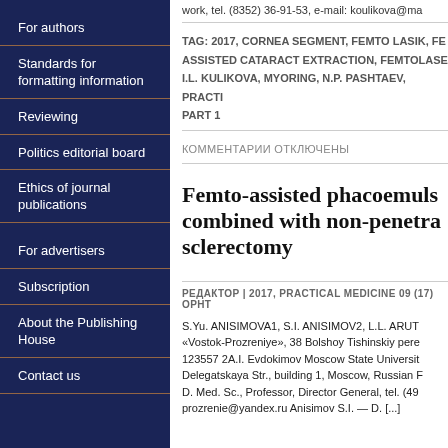work, tel. (8352) 36-91-53, e-mail: koulikova@ma
TAG: 2017, CORNEA SEGMENT, FEMTO LASIK, FEMTO ASSISTED CATARACT EXTRACTION, FEMTOLASE... I.L. KULIKOVA, MYORING, N.P. PASHTAEV, PRACT... PART 1
КОММЕНТАРИИ ОТКЛЮЧЕНЫ
For authors
Standards for formatting information
Reviewing
Politics editorial board
Ethics of journal publications
For advertisers
Subscription
About the Publishing House
Contact us
Femto-assisted phacoemulsification combined with non-penetrating sclerectomy
РЕДАКТОР | 2017, PRACTICAL MEDICINE 09 (17) ОРНТ...
S.Yu. ANISIMOVA1, S.I. ANISIMOV2, L.L. ARUT... «Vostok-Prozreniye», 38 Bolshoy Tishinskiy pere... 123557 2A.I. Evdokimov Moscow State Universit... Delegatskaya Str., building 1, Moscow, Russian F... D. Med. Sc., Professor, Director General, tel. (49... prozrenie@yandex.ru Anisimov S.I. — D. [...]